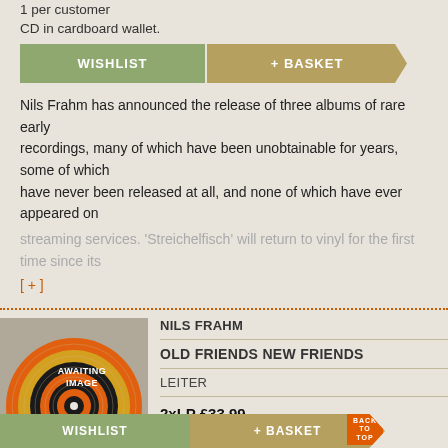1 per customer
CD in cardboard wallet.
WISHLIST | + BASKET
Nils Frahm has announced the release of three albums of rare early recordings, many of which have been unobtainable for years, some of which have never been released at all, and none of which have ever appeared on streaming services. 'Streichelfisch' will return to vinyl for the first time since its
[ + ]
[Figure (illustration): Awaiting image placeholder with concentric circles in orange, yellow/gold, and black on grey background with text AWAITING IMAGE]
NILS FRAHM
OLD FRIENDS NEW FRIENDS
LEITER
2xLP  £33.99
Usually ships within: 3-10 days
2LP 140 gram in wide... [ + ]
WISHLIST | + BASKET